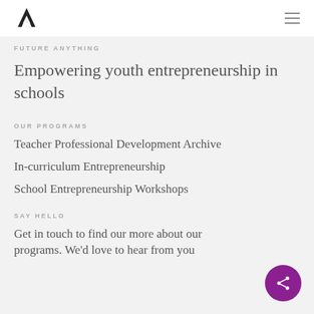FUTURE ANYTHING [logo + hamburger menu]
FUTURE ANYTHING
Empowering youth entrepreneurship in schools
OUR PROGRAMS
Teacher Professional Development Archive
In-curriculum Entrepreneurship
School Entrepreneurship Workshops
SAY HELLO
Get in touch to find our more about our programs. We'd love to hear from you